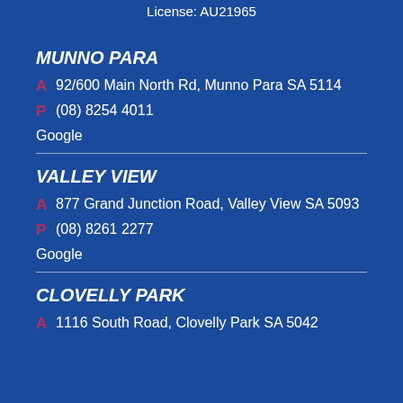License: AU21965
MUNNO PARA
A 92/600 Main North Rd, Munno Para SA 5114
P (08) 8254 4011
Google
VALLEY VIEW
A 877 Grand Junction Road, Valley View SA 5093
P (08) 8261 2277
Google
CLOVELLY PARK
A 1116 South Road, Clovelly Park SA 5042